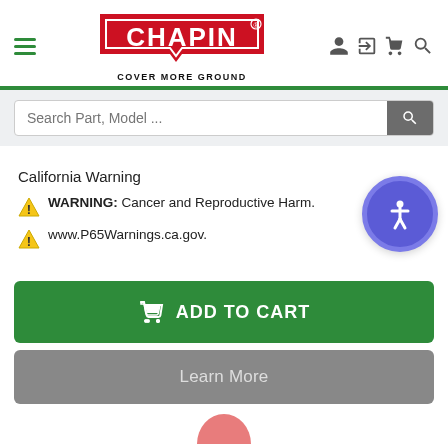[Figure (logo): Chapin logo with red banner shape and COVER MORE GROUND tagline]
[Figure (screenshot): Search bar with placeholder text 'Search Part, Model ...' and a gray search button]
California Warning
WARNING: Cancer and Reproductive Harm.
www.P65Warnings.ca.gov.
[Figure (other): Accessibility icon button - blue/purple circle with white person/accessibility symbol]
ADD TO CART
Learn More